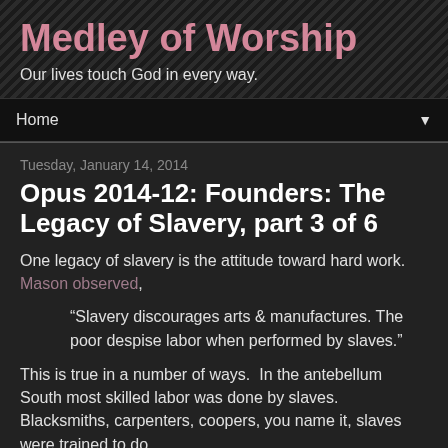Medley of Worship
Our lives touch God in every way.
Home ▼
Tuesday, January 14, 2014
Opus 2014-12: Founders: The Legacy of Slavery, part 3 of 6
One legacy of slavery is the attitude toward hard work. Mason observed,
“Slavery discourages arts & manufactures. The poor despise labor when performed by slaves.”
This is true in a number of ways.  In the antebellum South most skilled labor was done by slaves.  Blacksmiths, carpenters, coopers, you name it, slaves were trained to do